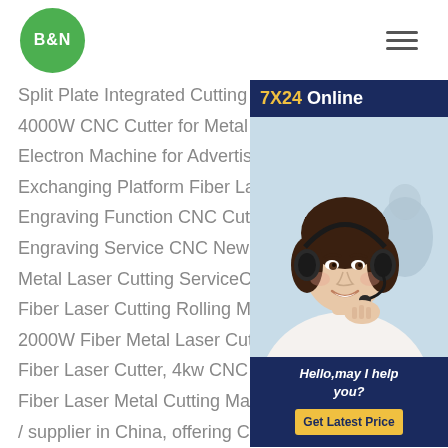B&N
[Figure (illustration): Chat support widget showing '7X24 Online', a customer service representative with headset, and 'Hello, may I help you?' with 'Get Latest Price' button]
Split Plate Integrated Cutting Machine 4000W CNC Cutter for Metal Steel, with Electron Machine for Advertising Industry Exchanging Platform Fiber Laser Cutter Engraving Function CNC Cutter for Metal Engraving Service CNC New CNC 2000W Metal Laser Cutting ServiceChina Prima Fiber Laser Cutting Rolling Machine for 2000W Fiber Metal Laser Cutting ServiceSteel Fiber Laser Cutter, 4kw CNC Laser Cutter, CNC Fiber Laser Metal Cutting Machine manufacturer / supplier in China, offering China Prima 2000W Fiber Laser Cutting Rolling Machine for Aluminium Cutter